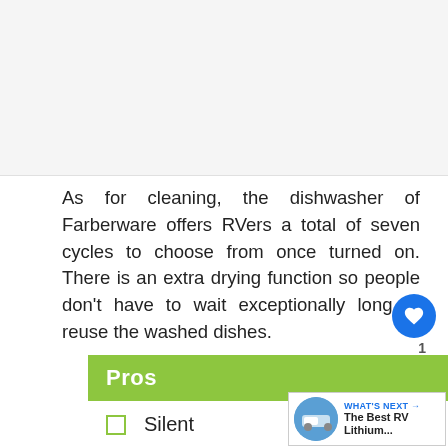[Figure (photo): Top image placeholder area, light gray background]
As for cleaning, the dishwasher of Farberware offers RVers a total of seven cycles to choose from once turned on. There is an extra drying function so people don't have to wait exceptionally long to reuse the washed dishes.
Pros
Silent
Simple installation